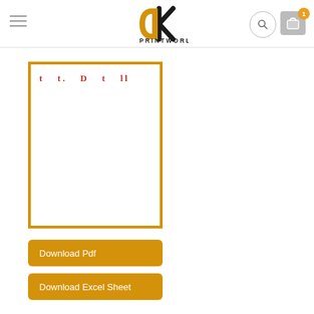[Figure (logo): DK Printworld logo with hamburger menu, search icon, and cart icon with badge showing 1]
[Figure (screenshot): Document preview thumbnail with gold/amber border showing a partially visible page with red text characters at the top]
Download Pdf
Download Excel Sheet